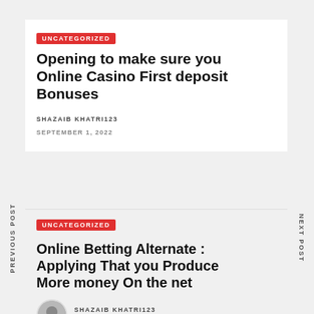PREVIOUS POST
NEXT POST
UNCATEGORIZED
Opening to make sure you Online Casino First deposit Bonuses
SHAZAIB KHATRI123
SEPTEMBER 1, 2022
UNCATEGORIZED
Online Betting Alternate : Applying That you Produce More money On the net
SHAZAIB KHATRI123
SEPTEMBER 1, 2022